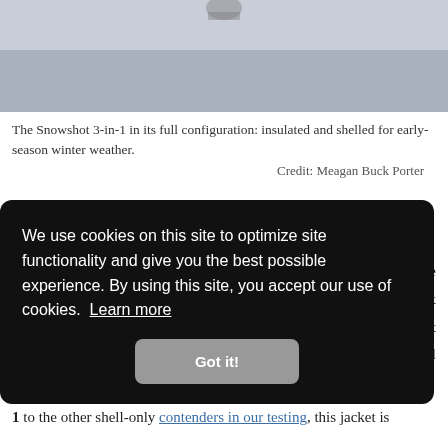[Figure (photo): Partial view of a person wearing the Patagonia Snowshot 3-in-1 jacket in snowy winter conditions, gray/blue-white snowy background.]
The Snowshot 3-in-1 in its full configuration: insulated and shelled for early-season winter weather.
Credit: Meagan Buck Porter
Warmth
The warmth of the Patagonia Snowshot 3-in-1 comes from
We use cookies on this site to optimize site functionality and give you the best possible experience. By using this site, you accept our use of cookies. Learn more
Got it!
1 to the other shell-only contenders in our testing, this jacket is